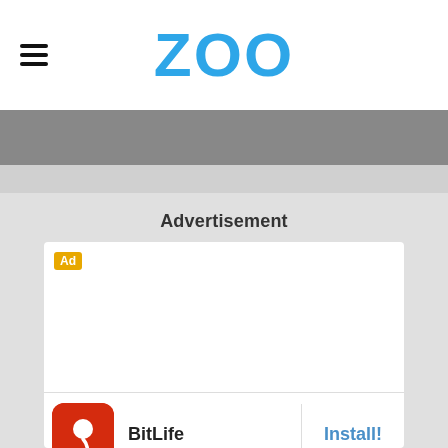ZOO
Advertisement
[Figure (screenshot): Advertisement box with BitLife app. Contains an orange 'Ad' badge in the top left, a white empty content area, and a bottom row showing the BitLife app icon (red rounded square with white sperm icon and yellow 'BitLife' text), the app name 'BitLife', and a blue 'Install!' button.]